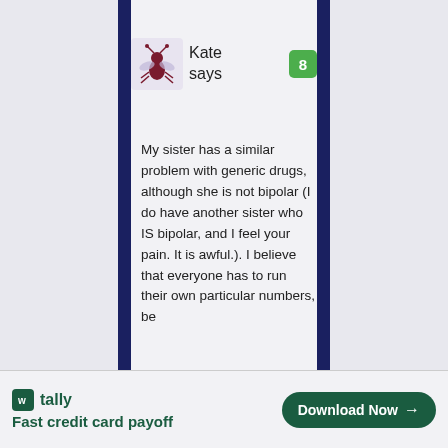[Figure (illustration): Cartoon ant avatar for user Kate]
Kate says
8
My sister has a similar problem with generic drugs, although she is not bipolar (I do have another sister who IS bipolar, and I feel your pain. It is awful.). I believe that everyone has to run their own particular numbers, be
[Figure (logo): Tally app advertisement banner — Fast credit card payoff — Download Now button]